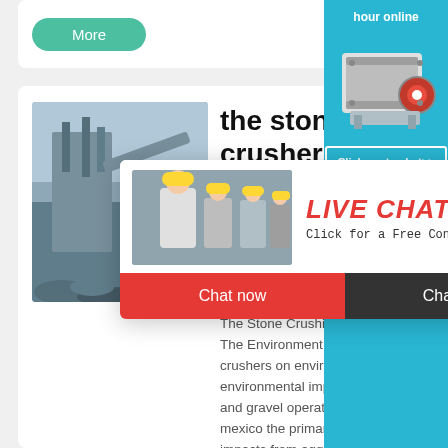[Figure (screenshot): Top card with 'More' green button]
[Figure (photo): Stone crusher machinery at a quarry site]
the stone crushers impacts
[Figure (screenshot): Live chat popup overlay with workers in hard hats, 'LIVE CHAT' in red italic, 'Click for a Free Consultation', Chat now (red) and Chat later (dark) buttons]
The Stone Crushi... The Environment, Im... crushers on environ... environmental impa... and gravel operatio... mexico the primary... impacts from aggre...
[Figure (photo): Right sidebar showing a jaw crusher machine image with 'hour online', 'Click me to chat>>' button, 'Enquiry' text, and partial email address]
hour online
Click me to chat>>
Enquiry